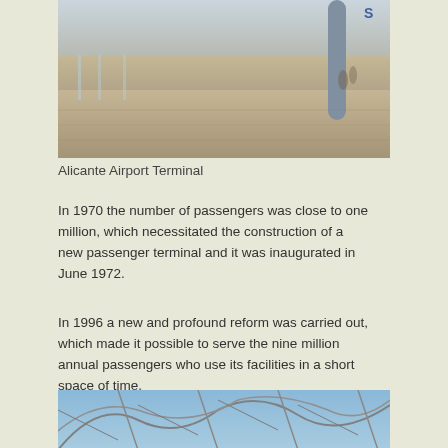[Figure (photo): Interior of Alicante Airport Terminal showing check-in hall with glass barriers and flooring]
Alicante Airport Terminal
In 1970 the number of passengers was close to one million, which necessitated the construction of a new passenger terminal and it was inaugurated in June 1972.
In 1996 a new and profound reform was carried out, which made it possible to serve the nine million annual passengers who use its facilities in a short space of time.
[Figure (photo): Close-up of glass and metal geometric roof structure of Alicante Airport]